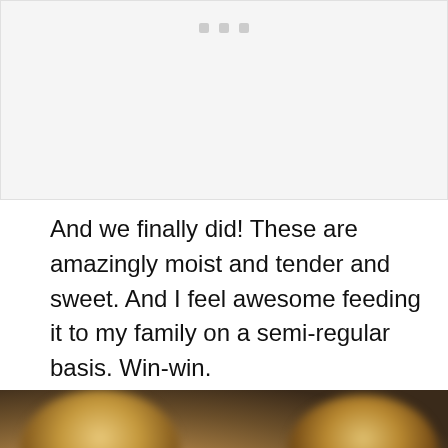[Figure (photo): Placeholder image area with three small gray dots visible at the top, representing a photo that is not fully loaded or cropped out of view]
And we finally did! These are amazingly moist and tender and sweet. And I feel awesome feeding it to my family on a semi-regular basis. Win-win.
[Figure (photo): Close-up blurred photo of baked muffins or rolls on a dark background, showing two rounded golden-brown tops]